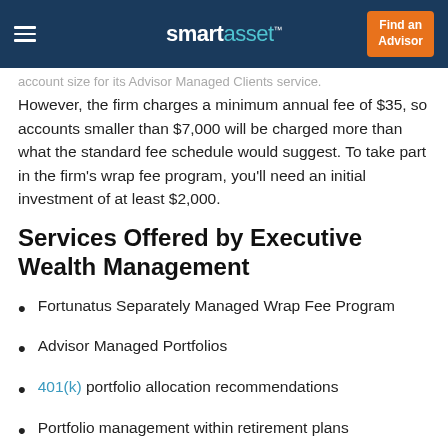smartasset™ | Find an Advisor
However, the firm charges a minimum annual fee of $35, so accounts smaller than $7,000 will be charged more than what the standard fee schedule would suggest. To take part in the firm's wrap fee program, you'll need an initial investment of at least $2,000.
Services Offered by Executive Wealth Management
Fortunatus Separately Managed Wrap Fee Program
Advisor Managed Portfolios
401(k) portfolio allocation recommendations
Portfolio management within retirement plans